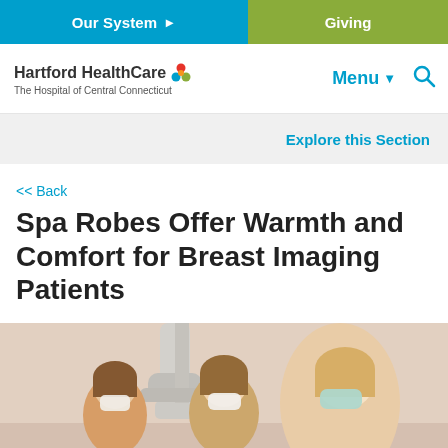Our System | Giving
Hartford HealthCare — The Hospital of Central Connecticut | Menu | Search
Explore this Section
<< Back
Spa Robes Offer Warmth and Comfort for Breast Imaging Patients
[Figure (photo): Three healthcare workers wearing face masks standing in front of a mammography machine in a breast imaging room.]